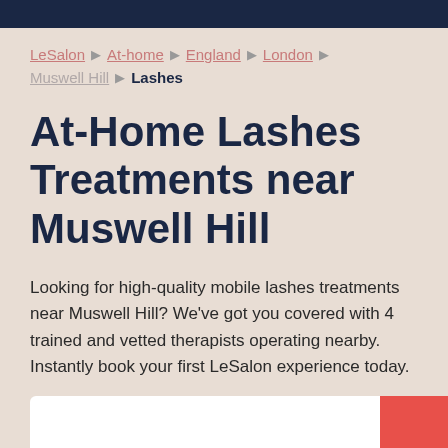LeSalon ▶ At-home ▶ England ▶ London ▶ Muswell Hill ▶ Lashes
At-Home Lashes Treatments near Muswell Hill
Looking for high-quality mobile lashes treatments near Muswell Hill? We've got you covered with 4 trained and vetted therapists operating nearby. Instantly book your first LeSalon experience today.